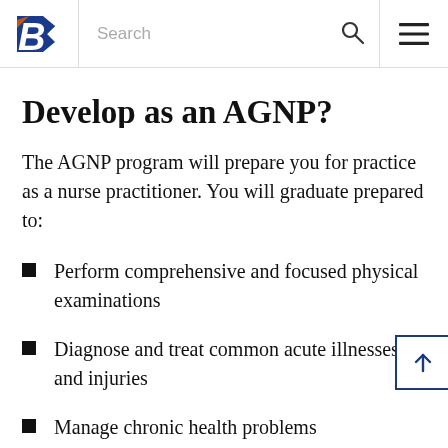Boise State University – Search – Menu navigation bar
Develop as an AGNP?
The AGNP program will prepare you for practice as a nurse practitioner. You will graduate prepared to:
Perform comprehensive and focused physical examinations
Diagnose and treat common acute illnesses and injuries
Manage chronic health problems